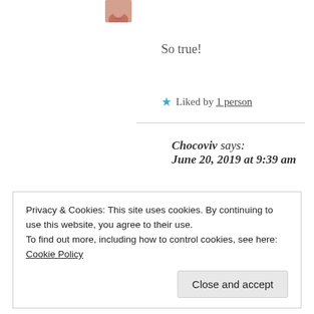[Figure (photo): Partial profile picture of a person (cropped, showing lips/mouth area) with partial username text cut off]
So true!
★ Liked by 1 person
Chocoviv says:
June 20, 2019 at 9:39 am
Any plans for the summer?
Privacy & Cookies: This site uses cookies. By continuing to use this website, you agree to their use.
To find out more, including how to control cookies, see here: Cookie Policy
Close and accept